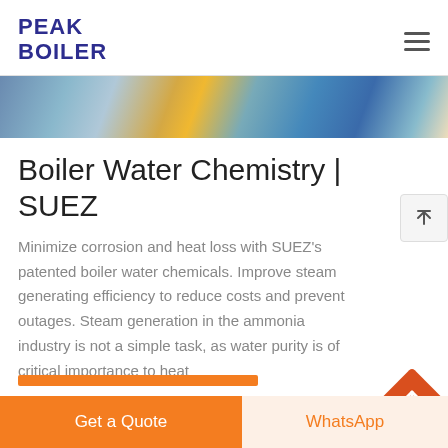PEAK BOILER
[Figure (photo): Industrial boiler equipment photograph showing pipes, machinery, and blue barrels in a facility]
Boiler Water Chemistry | SUEZ
Minimize corrosion and heat loss with SUEZ’s patented boiler water chemicals. Improve steam generating efficiency to reduce costs and prevent outages. Steam generation in the ammonia industry is not a simple task, as water purity is of critical importance to heat